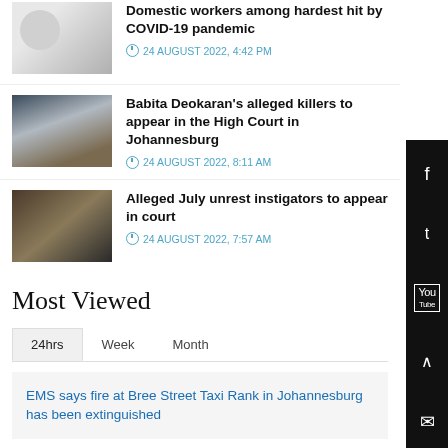[Figure (photo): Thumbnail image of domestic worker with laundry/washing machine]
Domestic workers among hardest hit by COVID-19 pandemic
24 AUGUST 2022, 4:42 PM
[Figure (photo): Thumbnail image of protest signs at DCE event]
Babita Deokaran's alleged killers to appear in the High Court in Johannesburg
24 AUGUST 2022, 8:11 AM
[Figure (photo): Thumbnail image of burning building during July unrest]
Alleged July unrest instigators to appear in court
24 AUGUST 2022, 7:57 AM
Most Viewed
24hrs	Week	Month
EMS says fire at Bree Street Taxi Rank in Johannesburg has been extinguished